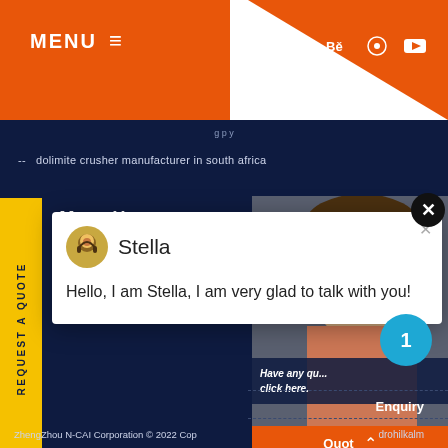[Figure (screenshot): Website header with orange MENU button on left, social media icons (f, twitter, Be, Pinterest, YouTube) on right, orange diagonal design element]
-- dolimite crusher manufacturer in south africa
[Figure (screenshot): Yellow vertical REQUEST A QUOTE side tab on left edge of dark navy background]
More Here
[Figure (screenshot): Live chat popup with avatar of Stella (customer service agent), name 'Stella', close X button, and message 'Hello, I am Stella, I am very glad to talk with you!']
[Figure (photo): Partial photo of a person (woman) on the right side widget, with 'Have any... click here.' text, orange Quote button with up arrow chevron, blue notification circle showing '1']
ZhengZhou N-CAI Corporation © 2022 Cop
Enquiry
drohilkalm